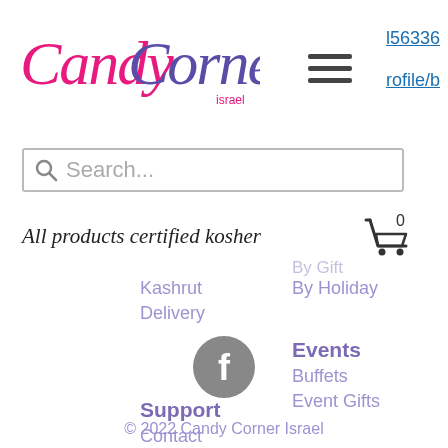[Figure (logo): Candy Corner Israel logo in pink and purple cursive script]
l56336
rofile/b
[Figure (other): Hamburger menu icon (three horizontal lines)]
Search...
All products certified kosher
[Figure (other): Shopping cart icon with count 0]
Kashrut
Delivery
By Holiday
Events
Buffets
Event Gifts
Support
Contact
FAQs
[Figure (logo): Facebook icon - grey circle with white F]
© 2022 Candy Corner Israel